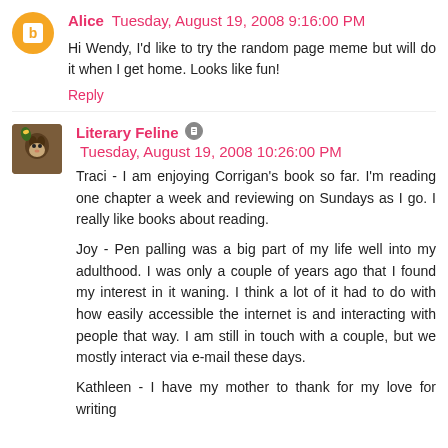Alice  Tuesday, August 19, 2008 9:16:00 PM
Hi Wendy, I'd like to try the random page meme but will do it when I get home. Looks like fun!
Reply
Literary Feline  Tuesday, August 19, 2008 10:26:00 PM
Traci - I am enjoying Corrigan's book so far. I'm reading one chapter a week and reviewing on Sundays as I go. I really like books about reading.
Joy - Pen palling was a big part of my life well into my adulthood. I was only a couple of years ago that I found my interest in it waning. I think a lot of it had to do with how easily accessible the internet is and interacting with people that way. I am still in touch with a couple, but we mostly interact via e-mail these days.
Kathleen - I have my mother to thank for my love for writing